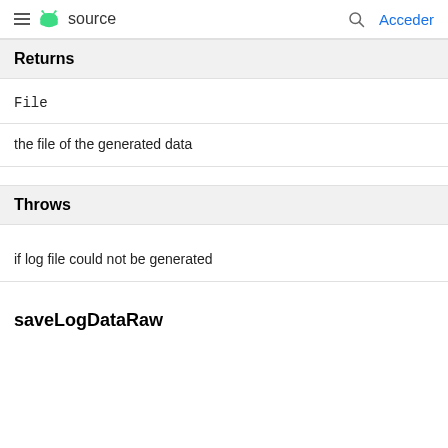≡ android source   🔍 Acceder
Returns
File
the file of the generated data
Throws
if log file could not be generated
saveLogDataRaw